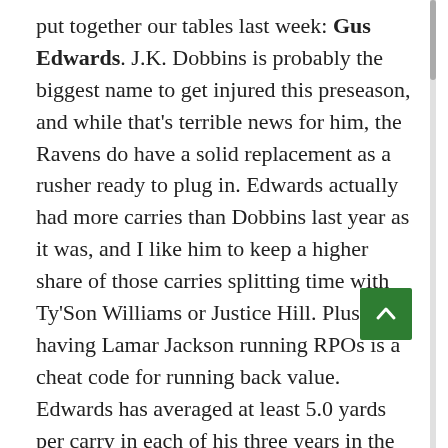put together our tables last week: Gus Edwards. J.K. Dobbins is probably the biggest name to get injured this preseason, and while that's terrible news for him, the Ravens do have a solid replacement as a rusher ready to plug in. Edwards actually had more carries than Dobbins last year as it was, and I like him to keep a higher share of those carries splitting time with Ty'Son Williams or Justice Hill. Plus, having Lamar Jackson running RPOs is a cheat code for running back value. Edwards has averaged at least 5.0 yards per carry in each of his three years in the league, and ranked seventh among running backs there last year. Opportunity knocks.
Andrew: I quite like Nick Chubb as a value pick, because I expect the Browns to be better than they were last year, and that should mean more second-half rushing. It's not just about record; in a lot of